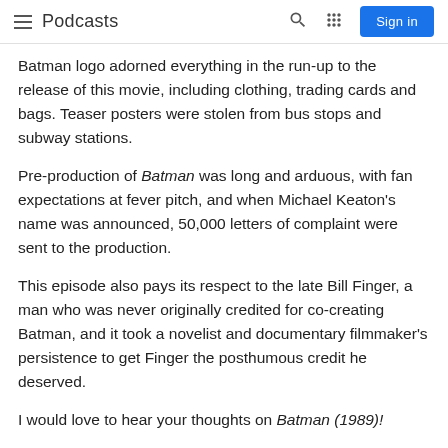Podcasts
Batman logo adorned everything in the run-up to the release of this movie, including clothing, trading cards and bags. Teaser posters were stolen from bus stops and subway stations.
Pre-production of Batman was long and arduous, with fan expectations at fever pitch, and when Michael Keaton's name was announced, 50,000 letters of complaint were sent to the production.
This episode also pays its respect to the late Bill Finger, a man who was never originally credited for co-creating Batman, and it took a novelist and documentary filmmaker's persistence to get Finger the posthumous credit he deserved.
I would love to hear your thoughts on Batman (1989)!
GET IN TOUCH....
Twitter @verbaldiorama
Instagram @verbaldiorama
Facebook @verbaldiorama
Letterboxd @verbaldiorama